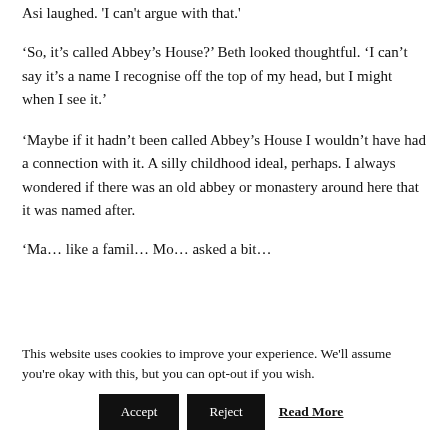Asi laughed. 'I can't argue with that.'
'So, it’s called Abbey’s House?’ Beth looked thoughtful. ‘I can’t say it’s a name I recognise off the top of my head, but I might when I see it.’
‘Maybe if it hadn’t been called Abbey’s House I wouldn’t have had a connection with it. A silly childhood ideal, perhaps. I always wondered if there was an old abbey or monastery around here that it was named after.
‘Maybe like a family… Mo asked a bit…
This website uses cookies to improve your experience. We'll assume you're okay with this, but you can opt-out if you wish.
Accept | Reject | Read More